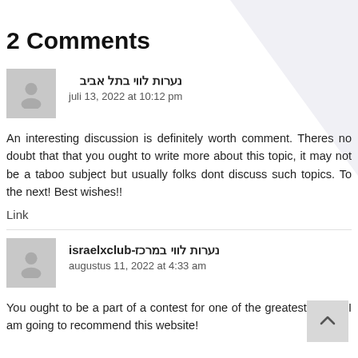2 Comments
נערות לווי בתל אביב
juli 13, 2022 at 10:12 pm
An interesting discussion is definitely worth comment. Theres no doubt that that you ought to write more about this topic, it may not be a taboo subject but usually folks dont discuss such topics. To the next! Best wishes!!
Link
israelxclub-נערות לווי במרכז
augustus 11, 2022 at 4:33 am
You ought to be a part of a contest for one of the greatest online. I am going to recommend this website!